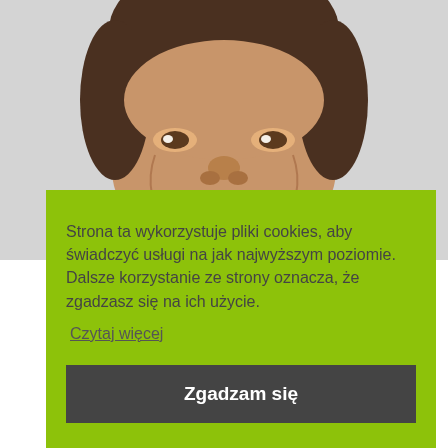[Figure (photo): Close-up photo of a smiling middle-aged man with dark hair against a light gray background, cropped at the top portion of the page.]
Strona ta wykorzystuje pliki cookies, aby świadczyć usługi na jak najwyższym poziomie. Dalsze korzystanie ze strony oznacza, że zgadzasz się na ich użycie.
Czytaj więcej
Zgadzam się